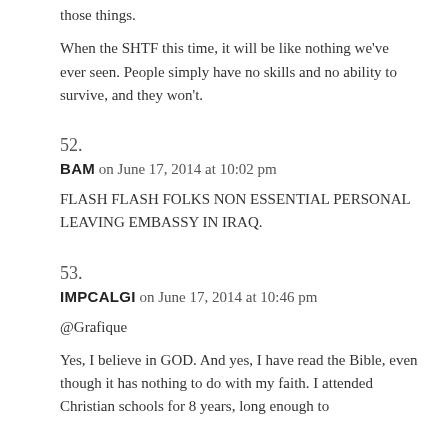those things.
When the SHTF this time, it will be like nothing we've ever seen. People simply have no skills and no ability to survive, and they won't.
52.
BAM on June 17, 2014 at 10:02 pm
FLASH FLASH FOLKS NON ESSENTIAL PERSONAL LEAVING EMBASSY IN IRAQ.
53.
IMPCALGI on June 17, 2014 at 10:46 pm
@Grafique
Yes, I believe in GOD. And yes, I have read the Bible, even though it has nothing to do with my faith. I attended Christian schools for 8 years, long enough to